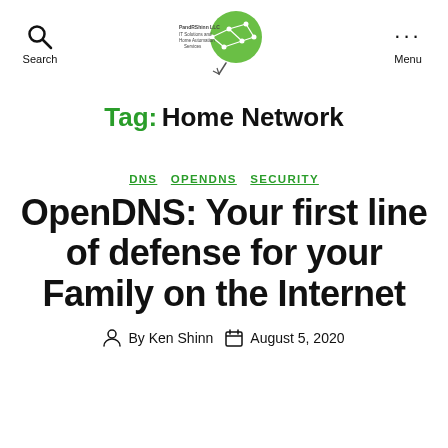Search | [Logo: PandRShinn LLC IT Solutions and Home Automation Services] | Menu
Tag: Home Network
DNS  OPENDNS  SECURITY
OpenDNS: Your first line of defense for your Family on the Internet
By Ken Shinn  August 5, 2020